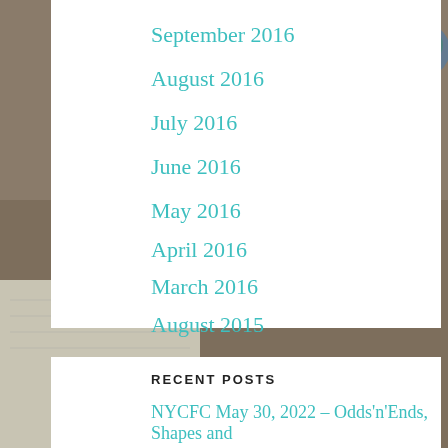[Figure (photo): Background photo of a desk with a notebook with handwritten notes, a pen, and a coffee cup in the top-right corner, with a warm brown color tone.]
September 2016
August 2016
July 2016
June 2016
May 2016
April 2016
March 2016
August 2015
RECENT POSTS
NYCFC May 30, 2022 – Odds'n'Ends, Shapes and